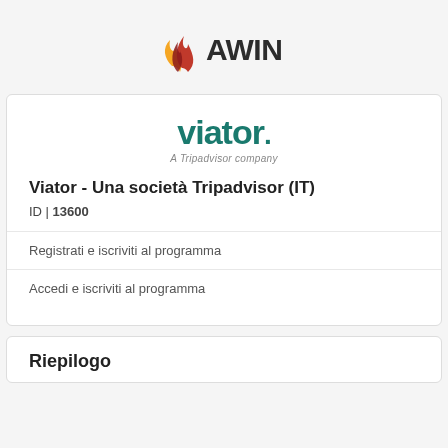[Figure (logo): Awin logo with flame icon and AWIN text in dark grey]
[Figure (logo): Viator logo - teal bold text with 'A Tripadvisor company' subtitle]
Viator - Una società Tripadvisor (IT)
ID | 13600
Registrati e iscriviti al programma
Accedi e iscriviti al programma
Riepilogo